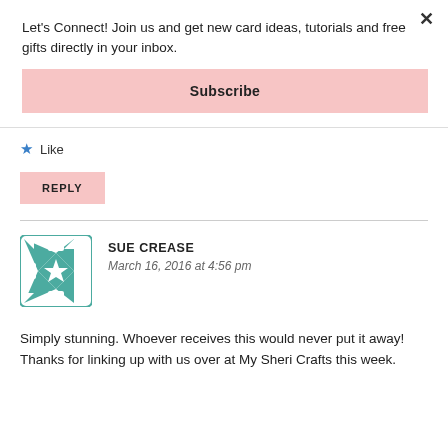Let's Connect! Join us and get new card ideas, tutorials and free gifts directly in your inbox.
Subscribe
Like
REPLY
[Figure (illustration): Teal decorative geometric/floral avatar icon for user Sue Crease]
SUE CREASE
March 16, 2016 at 4:56 pm
Simply stunning. Whoever receives this would never put it away! Thanks for linking up with us over at My Sheri Crafts this week.